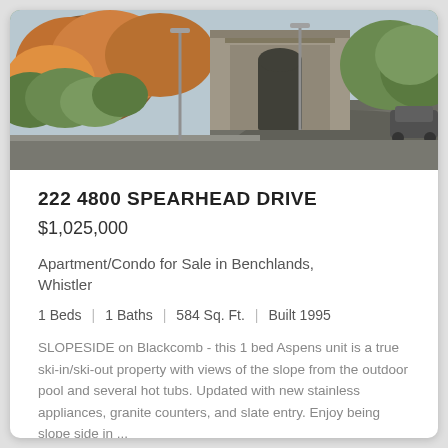[Figure (photo): Exterior photo of a residential building entrance with landscaping, autumn trees, archway gate, and driveway.]
222 4800 SPEARHEAD DRIVE
$1,025,000
Apartment/Condo for Sale in Benchlands, Whistler
1 Beds | 1 Baths | 584 Sq. Ft. | Built 1995
SLOPESIDE on Blackcomb - this 1 bed Aspens unit is a true ski-in/ski-out property with views of the slope from the outdoor pool and several hot tubs. Updated with new stainless appliances, granite counters, and slate entry. Enjoy being slope side in ...
RE/MAX Sea to Sky Real Estate (R2553798)